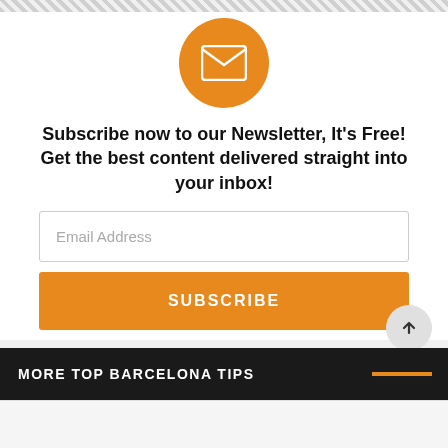[Figure (illustration): Orange circle with white envelope/email icon]
Subscribe now to our Newsletter, It's Free! Get the best content delivered straight into your inbox!
[Figure (screenshot): Email Address input field (empty, placeholder text)]
[Figure (screenshot): Orange SUBSCRIBE button]
MORE TOP BARCELONA TIPS